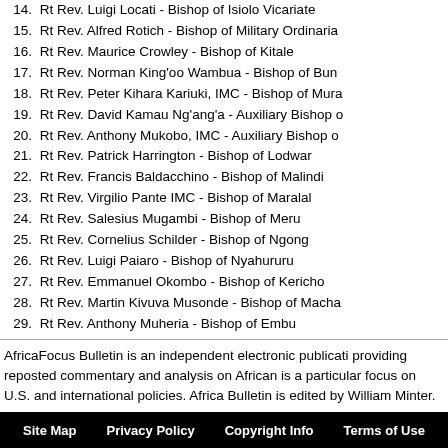14. Rt Rev. Luigi Locati - Bishop of Isiolo Vicariate
15. Rt Rev. Alfred Rotich - Bishop of Military Ordinaria
16. Rt Rev. Maurice Crowley - Bishop of Kitale
17. Rt Rev. Norman King'oo Wambua - Bishop of Bun
18. Rt Rev. Peter Kihara Kariuki, IMC - Bishop of Mura
19. Rt Rev. David Kamau Ng'ang'a - Auxiliary Bishop o
20. Rt Rev. Anthony Mukobo, IMC - Auxiliary Bishop o
21. Rt Rev. Patrick Harrington - Bishop of Lodwar
22. Rt Rev. Francis Baldacchino - Bishop of Malindi
23. Rt Rev. Virgilio Pante IMC - Bishop of Maralal
24. Rt Rev. Salesius Mugambi - Bishop of Meru
25. Rt Rev. Cornelius Schilder - Bishop of Ngong
26. Rt Rev. Luigi Paiaro - Bishop of Nyahururu
27. Rt Rev. Emmanuel Okombo - Bishop of Kericho
28. Rt Rev. Martin Kivuva Musonde - Bishop of Macha
29. Rt Rev. Anthony Muheria - Bishop of Embu
AfricaFocus Bulletin is an independent electronic publicati providing reposted commentary and analysis on African is a particular focus on U.S. and international policies. Africa Bulletin is edited by William Minter.
AfricaFocus Bulletin can be reached at africafocus@igc. Please write to this address to subscribe or unsubscribe to bulletin, or to suggest material for inclusion. For more info about reposted material, please contact directly the origin mentioned. For a full archive and other resources, see http://www.africafocus.org
Site Map   Privacy Policy   Copyright Info   Terms of Use